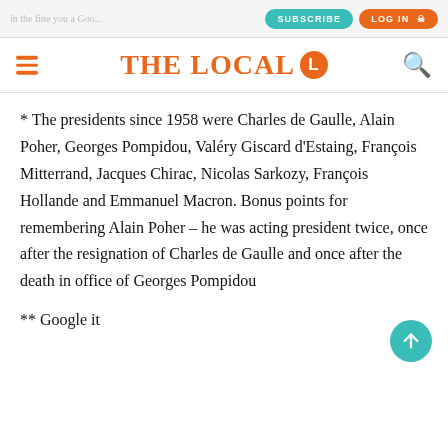THE LOCAL
* The presidents since 1958 were Charles de Gaulle, Alain Poher, Georges Pompidou, Valéry Giscard d'Estaing, François Mitterrand, Jacques Chirac, Nicolas Sarkozy, François Hollande and Emmanuel Macron. Bonus points for remembering Alain Poher – he was acting president twice, once after the resignation of Charles de Gaulle and once after the death in office of Georges Pompidou
** Google it